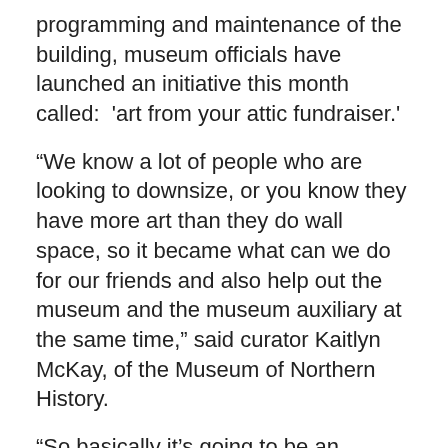programming and maintenance of the building, museum officials have launched an initiative this month called:  'art from your attic fundraiser.'
“We know a lot of people who are looking to downsize, or you know they have more art than they do wall space, so it became what can we do for our friends and also help out the museum and the museum auxiliary at the same time,” said curator Kaitlyn McKay, of the Museum of Northern History.
“So basically it’s going to be an auction online, but also for at least this year the artwork will actually be on display in the gallery for next month.”
McKay said the museum is the main location in